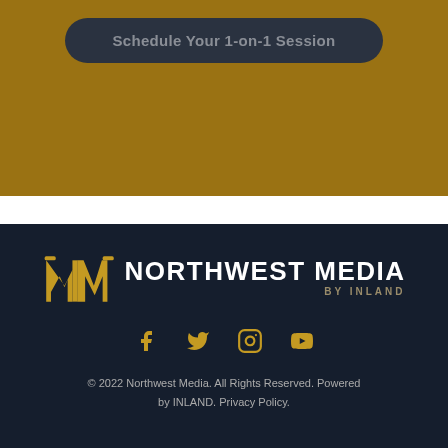[Figure (other): Golden/amber background section with a dark rounded pill button labeled 'Schedule Your 1-on-1 Session']
[Figure (logo): Northwest Media by Inland logo — gold stylized NM monogram with white bold text 'NORTHWEST MEDIA' and gold italic 'BY INLAND' below]
[Figure (other): Social media icons row: Facebook, Twitter, Instagram, YouTube — all in gold color]
© 2022 Northwest Media. All Rights Reserved. Powered by INLAND. Privacy Policy.